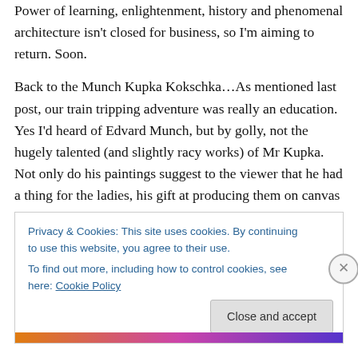Power of learning, enlightenment, history and phenomenal architecture isn't closed for business, so I'm aiming to return. Soon.
Back to the Munch Kupka Kokschka…As mentioned last post, our train tripping adventure was really an education. Yes I'd heard of Edvard Munch, but by golly, not the hugely talented (and slightly racy works) of Mr Kupka. Not only do his paintings suggest to the viewer that he had a thing for the ladies, his gift at producing them on canvas is something to behold (if you aren't nervous…and you like nudity…and brushstrokes).
Privacy & Cookies: This site uses cookies. By continuing to use this website, you agree to their use. To find out more, including how to control cookies, see here: Cookie Policy